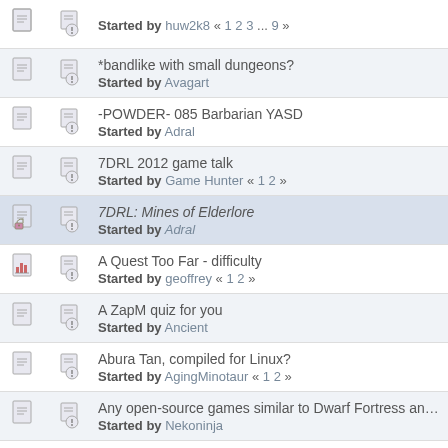Started by huw2k8 « 1 2 3 ... 9 »
*bandlike with small dungeons?
Started by Avagart
-POWDER- 085 Barbarian YASD
Started by Adral
7DRL 2012 game talk
Started by Game Hunter « 1 2 »
7DRL: Mines of Elderlore
Started by Adral
A Quest Too Far - difficulty
Started by geoffrey « 1 2 »
A ZapM quiz for you
Started by Ancient
Abura Tan, compiled for Linux?
Started by AgingMinotaur « 1 2 »
Any open-source games similar to Dwarf Fortress and Ultima R
Started by Nekoninja
Any Vampire Roguelikes?
Started by deathknight1728
Anybody play Hokuto no Rogue?
Started by Yyrkoon
Anyone have this old game called Deep by Oliver Mecking
Started by Nekoninja